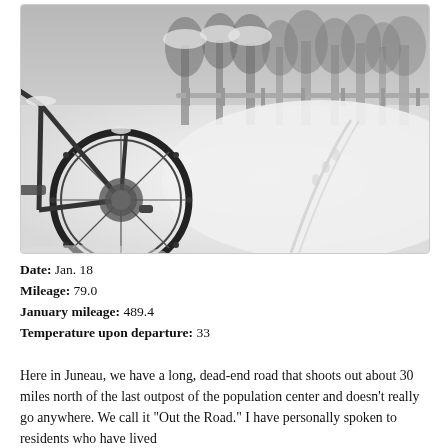[Figure (photo): Black and white photograph of a snow-covered mountain bike parked in deep snow, with a snowy road and trees in the background.]
Date: Jan. 18
Mileage: 79.0
January mileage: 489.4
Temperature upon departure: 33
Here in Juneau, we have a long, dead-end road that shoots out about 30 miles north of the last outpost of the population center and doesn't really go anywhere. We call it "Out the Road." I have personally spoken to residents who have lived